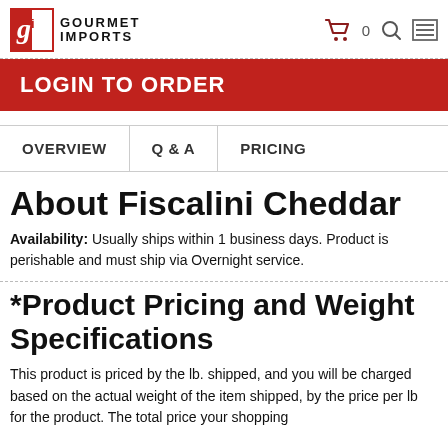GOURMET IMPORTS
[Figure (logo): Gourmet Imports logo with red and white icon and bold text]
LOGIN TO ORDER
OVERVIEW | Q & A | PRICING
About Fiscalini Cheddar
Availability: Usually ships within 1 business days. Product is perishable and must ship via Overnight service.
*Product Pricing and Weight Specifications
This product is priced by the lb. shipped, and you will be charged based on the actual weight of the item shipped, by the price per lb for the product. The total price your shopping